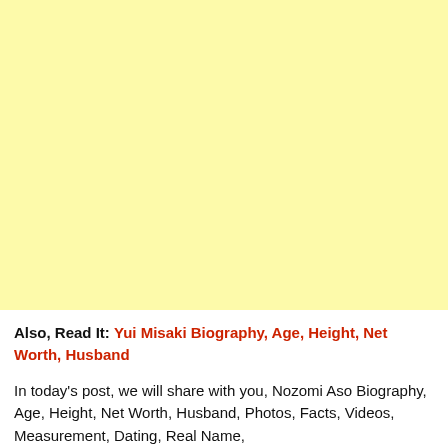[Figure (other): Large yellow/cream colored advertisement or image placeholder block]
Also, Read It: Yui Misaki Biography, Age, Height, Net Worth, Husband
In today's post, we will share with you, Nozomi Aso Biography, Age, Height, Net Worth, Husband, Photos, Facts, Videos, Measurement, Dating, Real Name,